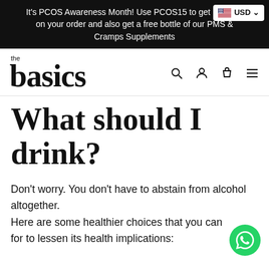It's PCOS Awareness Month! Use PCOS15 to get [discount] on your order and also get a free bottle of our PMS & Cramps Supplements
[Figure (logo): The Basics brand logo with 'the' in small text above large bold serif 'basics']
What should I drink?
Don't worry. You don't have to abstain from alcohol altogether.
Here are some healthier choices that you can opt for to lessen its health implications: